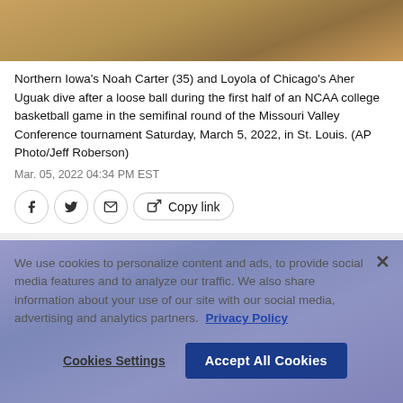[Figure (photo): Top portion of a basketball game photo showing players on the court floor with a basketball visible]
Northern Iowa's Noah Carter (35) and Loyola of Chicago's Aher Uguak dive after a loose ball during the first half of an NCAA college basketball game in the semifinal round of the Missouri Valley Conference tournament Saturday, March 5, 2022, in St. Louis. (AP Photo/Jeff Roberson)
Mar. 05, 2022 04:34 PM EST
[Figure (screenshot): Social sharing buttons: Facebook, Twitter, Email, and Copy link button]
[Figure (photo): Basketball game photo with cookie consent overlay showing player wearing jersey number 13]
We use cookies to personalize content and ads, to provide social media features and to analyze our traffic. We also share information about your use of our site with our social media, advertising and analytics partners.  Privacy Policy
Cookies Settings    Accept All Cookies